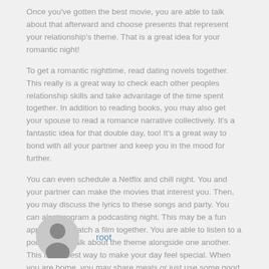Once you've gotten the best movie, you are able to talk about that afterward and choose presents that represent your relationship's theme. That is a great idea for your romantic night!
To get a romantic nighttime, read dating novels together. This really is a great way to check each other peoples relationship skills and take advantage of the time spent together. In addition to reading books, you may also get your spouse to read a romance narrative collectively. It's a fantastic idea for that double day, too! It's a great way to bond with all your partner and keep you in the mood for further.
You can even schedule a Netflix and chill night. You and your partner can make the movies that interest you. Then, you may discuss the lyrics to these songs and party. You can also program a podcasting night. This may be a fun approach to watch a film together. You are able to listen to a podcast and talk about the theme alongside one another. This is the best way to make your day feel special. When you are home, you may share meals or just use some good time.
[Figure (illustration): Gray default user avatar circle icon]
root